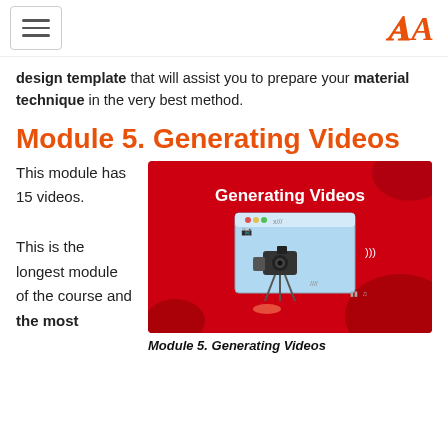[hamburger menu] [A logo]
design template that will assist you to prepare your material technique in the very best method.
Module 5. Generating Videos
This module has 15 videos.

This is the longest module of the course and the most
[Figure (illustration): Red banner image with white bold text 'Generating Videos' and a cartoon camera on a tripod pointing at a blue screen/monitor, on a red background.]
Module 5. Generating Videos